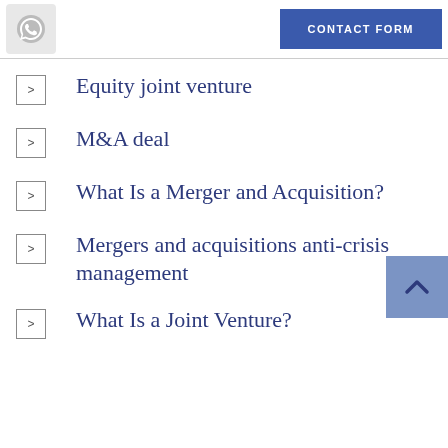[Figure (other): WhatsApp icon button and blue Contact Form button in page header]
Equity joint venture
M&A deal
What Is a Merger and Acquisition?
Mergers and acquisitions anti-crisis management
What Is a Joint Venture?
[Figure (other): Back to top chevron button]